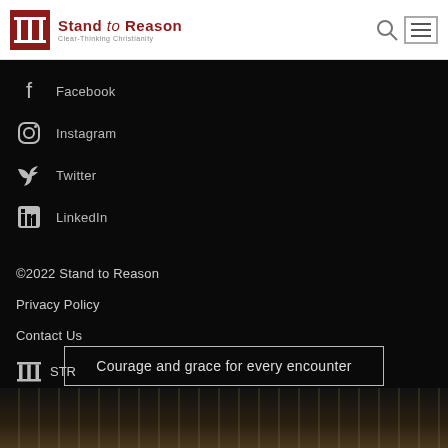Stand to Reason — Clear-Thinking Christianity
Facebook
Instagram
Twitter
LinkedIn
©2022 Stand to Reason
Privacy Policy
Contact Us
STR
Courage and grace for every encounter
[Figure (photo): Bottom portion of page showing dark background with partial view of what appears to be a guitar or architectural columns]